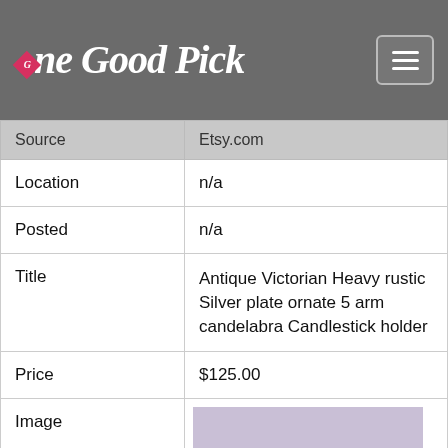OneGoodPick
| Source | Etsy.com |
| Location | n/a |
| Posted | n/a |
| Title | Antique Victorian Heavy rustic Silver plate ornate 5 arm candelabra Candlestick holder |
| Price | $125.00 |
| Image | [candelabra image] |